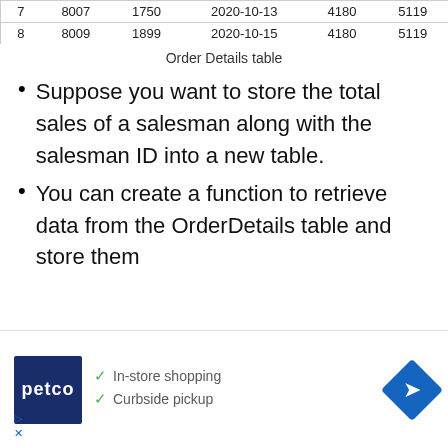| 7 | 8007 | 1750 | 2020-10-13 | 4180 | 5119 |
| 8 | 8009 | 1899 | 2020-10-15 | 4180 | 5119 |
Order Details table
Suppose you want to store the total sales of a salesman along with the salesman ID into a new table.
You can create a function to retrieve data from the OrderDetails table and store them